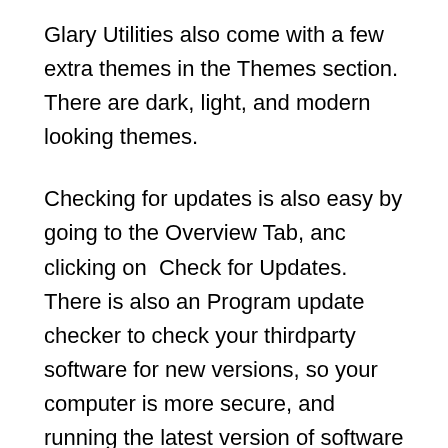Glary Utilities also come with a few extra themes in the Themes section. There are dark, light, and modern looking themes.
Checking for updates is also easy by going to the Overview Tab, anc clicking on  Check for Updates. There is also an Program update checker to check your thirdparty software for new versions, so your computer is more secure, and running the latest version of software programs which you have installed on your computer.
Glary Utilities 3 Free is a great program for easily repairing, optimizing, speeding up, securing, erasing your private history in  Windows with a few clicks of the mouse.